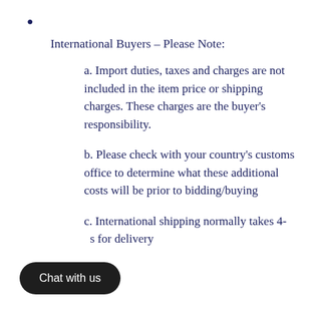International Buyers – Please Note:
a. Import duties, taxes and charges are not included in the item price or shipping charges. These charges are the buyer's responsibility.
b. Please check with your country's customs office to determine what these additional costs will be prior to bidding/buying
c. International shipping normally takes 4- s for delivery